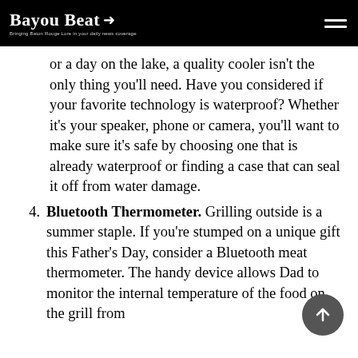Bayou Beat — Bringing Baton Rouge Lore in your daily news coverage
or a day on the lake, a quality cooler isn't the only thing you'll need. Have you considered if your favorite technology is waterproof? Whether it's your speaker, phone or camera, you'll want to make sure it's safe by choosing one that is already waterproof or finding a case that can seal it off from water damage.
4. Bluetooth Thermometer. Grilling outside is a summer staple. If you're stumped on a unique gift this Father's Day, consider a Bluetooth meat thermometer. The handy device allows Dad to monitor the internal temperature of the food on the grill from his phone, and you can buy a compatible